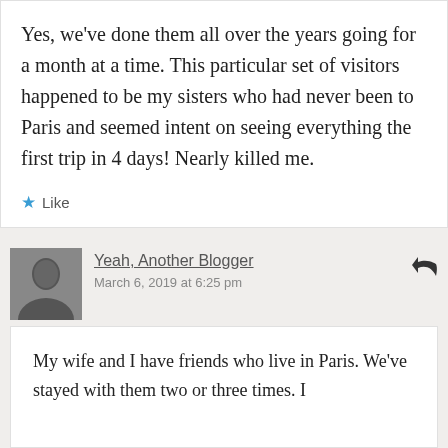Yes, we've done them all over the years going for a month at a time. This particular set of visitors happened to be my sisters who had never been to Paris and seemed intent on seeing everything the first trip in 4 days! Nearly killed me.
★ Like
Yeah, Another Blogger
March 6, 2019 at 6:25 pm
My wife and I have friends who live in Paris. We've stayed with them two or three times. I